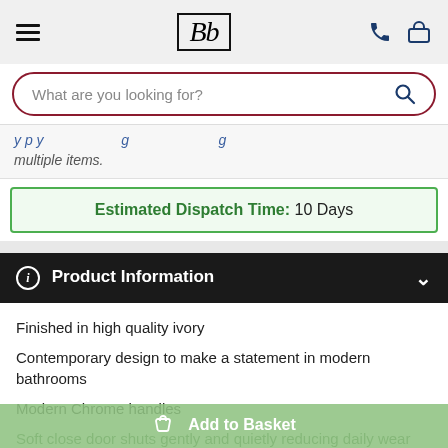Bb logo with hamburger menu and phone/basket icons
What are you looking for?
multiple items.
Estimated Dispatch Time: 10 Days
ℹ Product Information
Finished in high quality ivory
Contemporary design to make a statement in modern bathrooms
Modern Chrome handles
Soft close door shuts gently and quietly reducing daily wear
Add to Basket